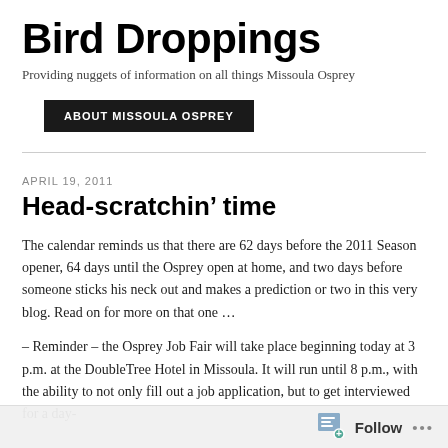Bird Droppings
Providing nuggets of information on all things Missoula Osprey
ABOUT MISSOULA OSPREY
APRIL 19, 2011
Head-scratchin’ time
The calendar reminds us that there are 62 days before the 2011 Season opener, 64 days until the Osprey open at home, and two days before someone sticks his neck out and makes a prediction or two in this very blog. Read on for more on that one …
– Reminder – the Osprey Job Fair will take place beginning today at 3 p.m. at the DoubleTree Hotel in Missoula. It will run until 8 p.m., with the ability to not only fill out a job application, but to get interviewed for a day-